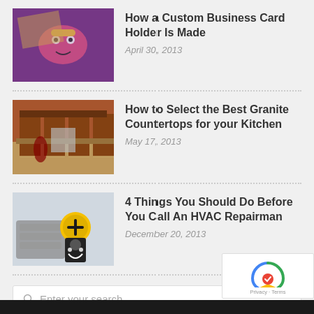[Figure (screenshot): Thumbnail of a purple custom business card holder with a pink candy design]
How a Custom Business Card Holder Is Made
April 30, 2013
[Figure (screenshot): Thumbnail of a kitchen with granite countertops and wooden cabinets]
How to Select the Best Granite Countertops for your Kitchen
May 17, 2013
[Figure (screenshot): Thumbnail of an HVAC repairman in a yellow hard hat giving thumbs up next to an AC unit]
4 Things You Should Do Before You Call An HVAC Repairman
December 20, 2013
Enter your search...
USEFUL LINKS